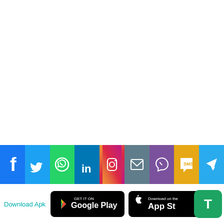[Figure (illustration): Social media sharing icons bar: Facebook, Twitter, WhatsApp, LinkedIn, Instagram, Email, Viber, SMS, Telegram]
Download Apk
[Figure (logo): Google Play store badge - GET IT ON Google Play]
[Figure (logo): Apple App Store badge - Download on the App Store (partially hidden)]
[Figure (logo): Green T icon button]
Get Taxiuber7.com on Google Play
Find Contacts